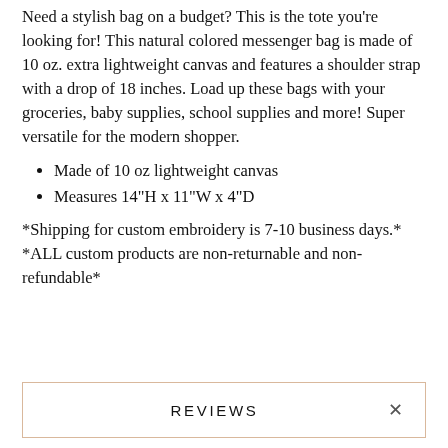Need a stylish bag on a budget? This is the tote you're looking for! This natural colored messenger bag is made of 10 oz. extra lightweight canvas and features a shoulder strap with a drop of 18 inches. Load up these bags with your groceries, baby supplies, school supplies and more! Super versatile for the modern shopper.
Made of 10 oz lightweight canvas
Measures 14"H x 11"W x 4"D
*Shipping for custom embroidery is 7-10 business days.*
*ALL custom products are non-returnable and non-refundable*
REVIEWS